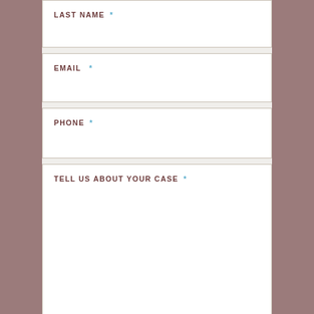LAST NAME *
EMAIL *
PHONE *
TELL US ABOUT YOUR CASE *
SUBMIT MESSAGE